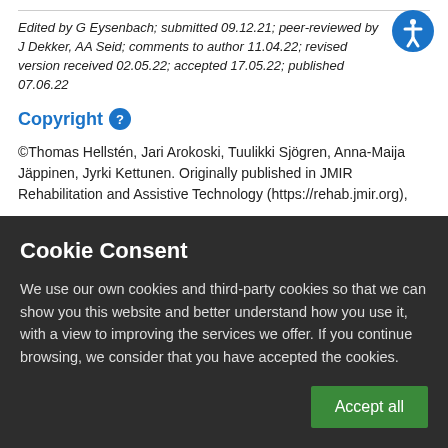Edited by G Eysenbach; submitted 09.12.21; peer-reviewed by J Dekker, AA Seid; comments to author 11.04.22; revised version received 02.05.22; accepted 17.05.22; published 07.06.22
Copyright
©Thomas Hellstén, Jari Arokoski, Tuulikki Sjögren, Anna-Maija Jäppinen, Jyrki Kettunen. Originally published in JMIR Rehabilitation and Assistive Technology (https://rehab.jmir.org),
Cookie Consent
We use our own cookies and third-party cookies so that we can show you this website and better understand how you use it, with a view to improving the services we offer. If you continue browsing, we consider that you have accepted the cookies.